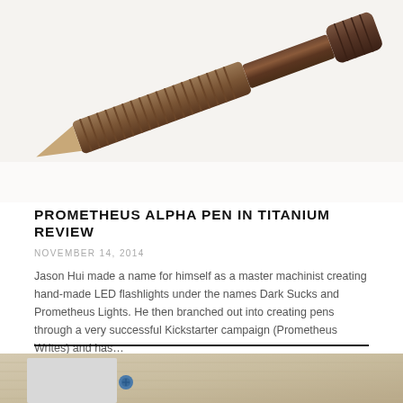[Figure (photo): Close-up photo of a titanium pen with machined grooves and ridged grip section, dark bronze/brown finish, on white background]
PROMETHEUS ALPHA PEN IN TITANIUM REVIEW
NOVEMBER 14, 2014
Jason Hui made a name for himself as a master machinist creating hand-made LED flashlights under the names Dark Sucks and Prometheus Lights. He then branched out into creating pens through a very successful Kickstarter campaign (Prometheus Writes) and has…
[Figure (photo): Partial photo showing what appears to be a knife or tool with blue hardware on a textile/fabric background]